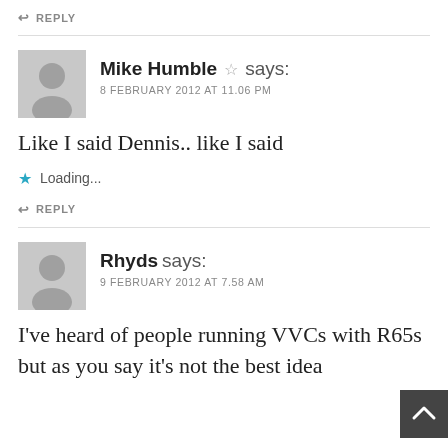↩ REPLY
Mike Humble ☆ says:
8 FEBRUARY 2012 AT 11.06 PM
Like I said Dennis.. like I said
★ Loading...
↩ REPLY
Rhyds says:
9 FEBRUARY 2012 AT 7.58 AM
I've heard of people running VVCs with R65s but as you say it's not the best idea